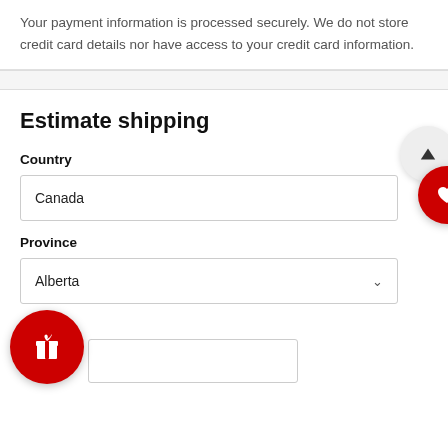Your payment information is processed securely. We do not store credit card details nor have access to your credit card information.
Estimate shipping
Country
Canada
Province
Alberta
Zip